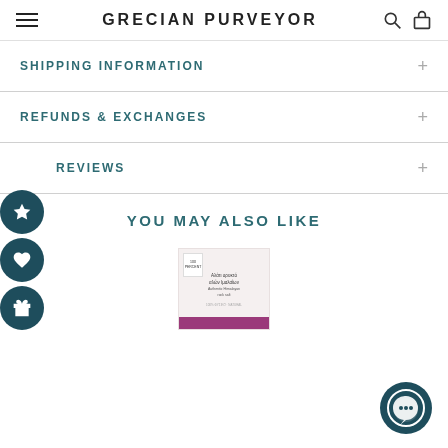GRECIAN PURVEYOR
SHIPPING INFORMATION
REFUNDS & EXCHANGES
REVIEWS
YOU MAY ALSO LIKE
[Figure (photo): Product box showing Grecian Purveyor salt product with Greek and English text, purple bottom band]